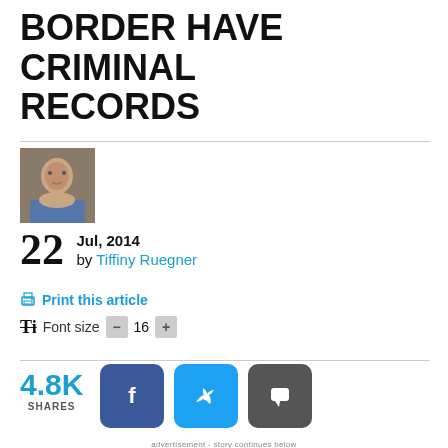BORDER HAVE CRIMINAL RECORDS
[Figure (photo): Author headshot photo - young person with arms crossed]
22 Jul, 2014 by Tiffiny Ruegner
Print this article
Ti Font size - 16 +
4.8K SHARES
[Figure (infographic): Social share buttons: Facebook, Twitter, Comment]
advertisement - story continues below
[Figure (photo): Dinosaur statue against purple/blue sky with trees]